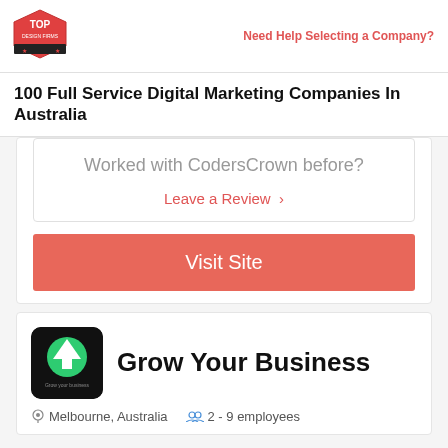Need Help Selecting a Company?
100 Full Service Digital Marketing Companies In Australia
Worked with CodersCrown before?
Leave a Review >
Visit Site
[Figure (logo): Grow Your Business company logo - black rounded square with green tree/arrow icon]
Grow Your Business
Melbourne, Australia   2 - 9 employees